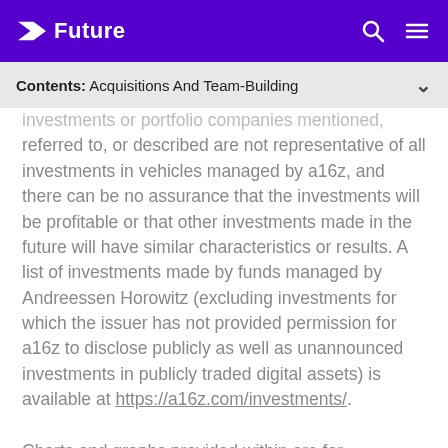Future
Contents: Acquisitions And Team-Building
investments or portfolio companies mentioned, referred to, or described are not representative of all investments in vehicles managed by a16z, and there can be no assurance that the investments will be profitable or that other investments made in the future will have similar characteristics or results. A list of investments made by funds managed by Andreessen Horowitz (excluding investments for which the issuer has not provided permission for a16z to disclose publicly as well as unannounced investments in publicly traded digital assets) is available at https://a16z.com/investments/.
Charts and graphs provided within are for informational purposes solely and should not be